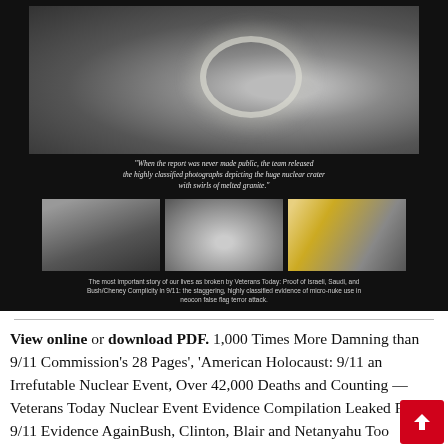[Figure (photo): Large aerial photo of nuclear crater with swirls of melted granite rock formation, with small figures visible at edge. Below it, a pull quote in italic text about classified photographs. Three smaller photos arranged horizontally below: a street scene with burnt car, a document/diagram image, and emergency workers in yellow hazmat suits. Caption text below describing Veterans Today 9/11 story.]
View online or download PDF. 1,000 Times More Damning than 9/11 Commission's 28 Pages', 'American Holocaust: 9/11 an Irrefutable Nuclear Event, Over 42,000 Deaths and Counting — Veterans Today Nuclear Event Evidence Compilation Leaked FBI 9/11 Evidence Against Bush, Clinton, Blair and Netanyahu Too Staggering to